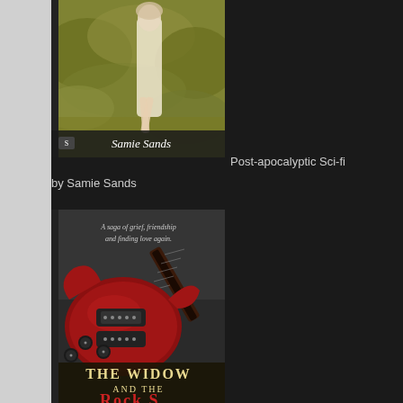[Figure (photo): Book cover showing a woman walking in a field/wooded area with yellow-green foliage, with 'Samie Sands' text and a logo at the bottom]
Post-apocalyptic Sci-fi
by Samie Sands
[Figure (photo): Book cover for 'The Widow and the Rock Star' featuring a red electric guitar against a dark background, with subtitle text 'A saga of grief, friendship and finding love again.']